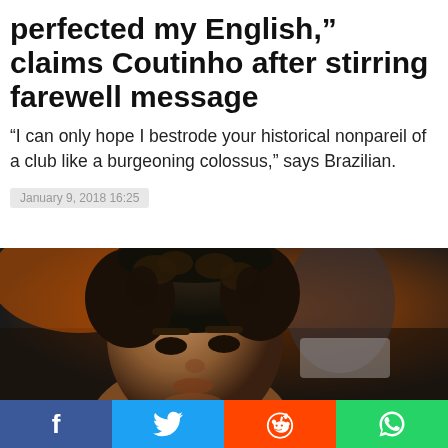perfected my English," claims Coutinho after stirring farewell message
"I can only hope I bestrode your historical nonpareil of a club like a burgeoning colossus," says Brazilian.
January 9, 2018 16:25
[Figure (photo): Close-up photo of Philippe Coutinho with curly dark hair, looking downward. A blurred figure in white collar is visible in the background. Stadium/arena setting with orange and dark background.]